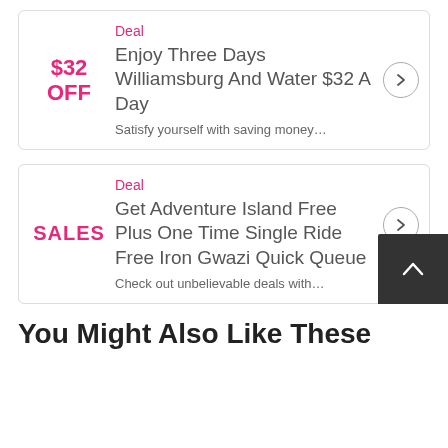$32 OFF
Deal
Enjoy Three Days Williamsburg And Water $32 A Day
Satisfy yourself with saving money…
SALES
Deal
Get Adventure Island Free Plus One Time Single Ride Free Iron Gwazi Quick Queue
Check out unbelievable deals with…
You Might Also Like These